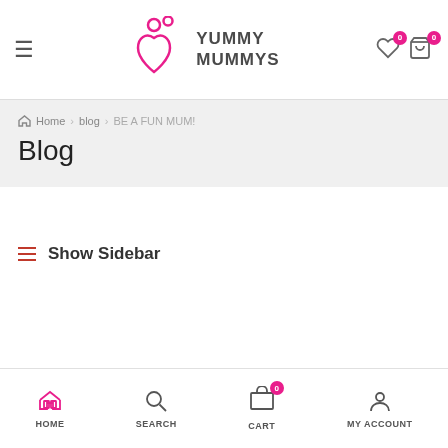[Figure (logo): Yummy Mummys logo with pink heart/people icon and bold text]
Home > blog > BE A FUN MUM!
Blog
≡ Show Sidebar
HOME  SEARCH  CART 0  MY ACCOUNT